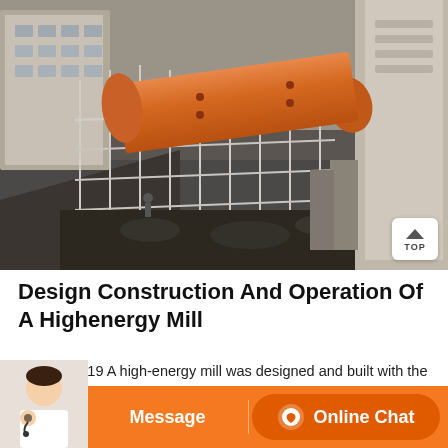[Figure (photo): Aerial view of industrial construction site with a large orange cylindrical ball mill being installed. Scaffolding and concrete structures visible in the background.]
Design Construction And Operation Of A Highenergy Mill
Feb 07, 2019 A high-energy mill was designed and built with the purpose of processing magnesium (Mg) powders. The main characteristics of the